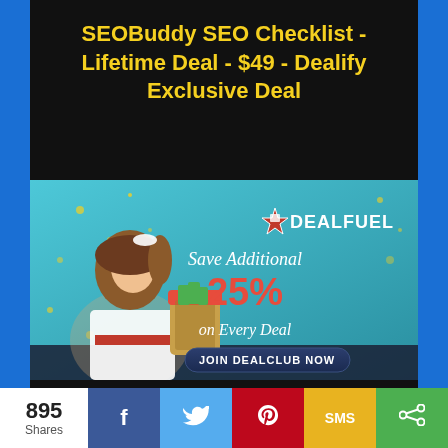SEOBuddy SEO Checklist - Lifetime Deal - $49 - Dealify Exclusive Deal
[Figure (illustration): DealFuel advertisement banner showing a woman holding a jar of money, with text 'Save Additional 25% on Every Deal' and 'JOIN DEALCLUB NOW' button, featuring the DealFuel logo]
Webmaster find the best Web
895 Shares